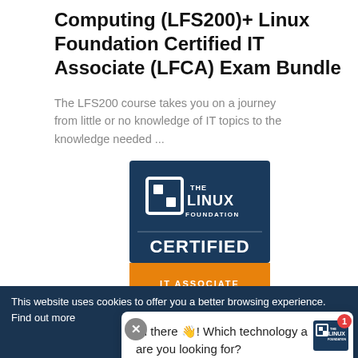Computing (LFS200)+ Linux Foundation Certified IT Associate (LFCA) Exam Bundle
The LFS200 course takes you on a journey from little or no knowledge of IT topics to the knowledge needed ...
[Figure (logo): The Linux Foundation Certified IT Associate badge: dark blue upper section with Linux Foundation logo and text, orange lower section with 'CERTIFIED IT ASSOCIATE' text and pennant shape at bottom.]
This website uses cookies to offer you a better browsing experience. Find out more b... ar
Hi there 👋! Which technology area are you looking for?